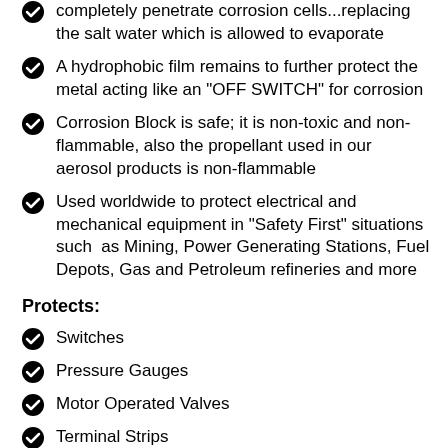completely penetrate corrosion cells...replacing the salt water which is allowed to evaporate
A hydrophobic film remains to further protect the metal acting like an "OFF SWITCH" for corrosion
Corrosion Block is safe; it is non-toxic and non-flammable, also the propellant used in our aerosol products is non-flammable
Used worldwide to protect electrical and mechanical equipment in "Safety First" situations such as Mining, Power Generating Stations, Fuel Depots, Gas and Petroleum refineries and more
Protects:
Switches
Pressure Gauges
Motor Operated Valves
Terminal Strips